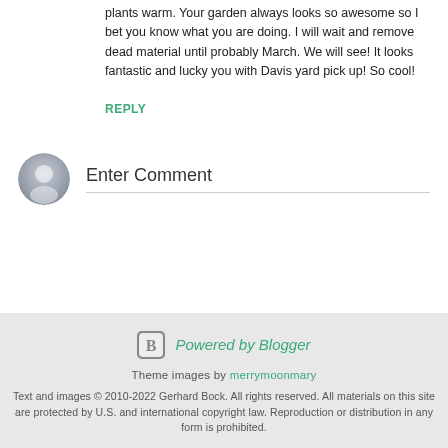plants warm. Your garden always looks so awesome so I bet you know what you are doing. I will wait and remove dead material until probably March. We will see! It looks fantastic and lucky you with Davis yard pick up! So cool!
REPLY
Enter Comment
Powered by Blogger
Theme images by merrymoonmary
Text and images © 2010-2022 Gerhard Bock. All rights reserved. All materials on this site are protected by U.S. and international copyright law. Reproduction or distribution in any form is prohibited.